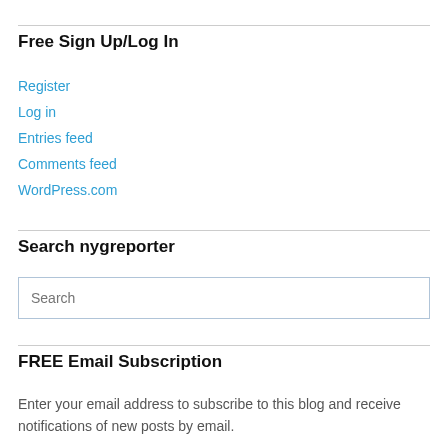Free Sign Up/Log In
Register
Log in
Entries feed
Comments feed
WordPress.com
Search nygreporter
FREE Email Subscription
Enter your email address to subscribe to this blog and receive notifications of new posts by email.